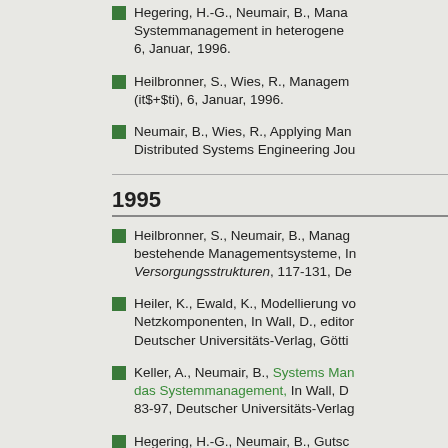Hegering, H.-G., Neumair, B., Management of Systemmanagement in heterogenen Netzen... 6, Januar, 1996.
Heilbronner, S., Wies, R., Management... (it$+$ti), 6, Januar, 1996.
Neumair, B., Wies, R., Applying Management... Distributed Systems Engineering Journal...
1995
Heilbronner, S., Neumair, B., Management... bestehende Managementsysteme, In Versorgungsstrukturen, 117-131, De...
Heiler, K., Ewald, K., Modellierung von Netzkomponenten, In Wall, D., editor, Deutscher Universitäts-Verlag, Göttin...
Keller, A., Neumair, B., Systems Management / das Systemmanagement, In Wall, D... 83-97, Deutscher Universitäts-Verlag...
Hegering, H.-G., Neumair, B., Gutsc... Management von verteilten Systeme...
Heilbronner, S., Management von P... Fachseminars: Lokale Netze und Zu...
Neumair, B., Wies, R., Using Management... Systems, In Proceedings of the Int...